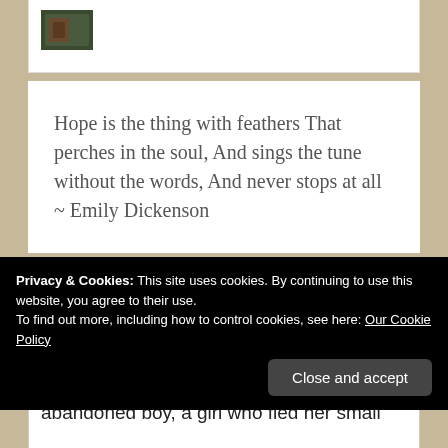[Figure (illustration): Partial view of a decorative image in the top card, cut off at top of page]
Hope is the thing with feathers That perches in the soul, And sings the tune without the words, And never stops at all ~ Emily Dickenson
GOODREADS
Everything Changes
by Catherine Bybee (partial)
[Figure (illustration): Book cover for Everything Changes by Catherine Bybee, dark green with golden text]
Privacy & Cookies: This site uses cookies. By continuing to use this website, you agree to their use.
To find out more, including how to control cookies, see here: Our Cookie Policy
Close and accept
abandoned boy, a girl who fled her small